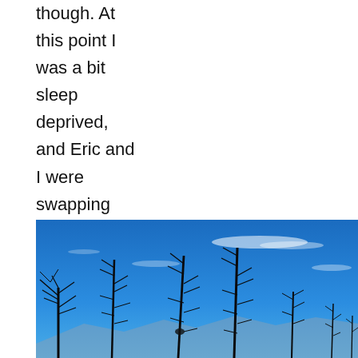though. At this point I was a bit sleep deprived, and Eric and I were swapping who was leading.
[Figure (photo): Outdoor photograph of bare, dead conifer trees silhouetted against a vivid blue sky with a few wispy white clouds. Mountains visible in the background along the horizon.]